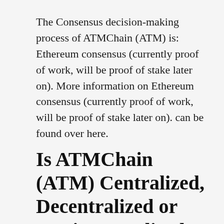The Consensus decision-making process of ATMChain (ATM) is: Ethereum consensus (currently proof of work, will be proof of stake later on). More information on Ethereum consensus (currently proof of work, will be proof of stake later on). can be found over here.
Is ATMChain (ATM) Centralized, Decentralized or Semi-Centralized?